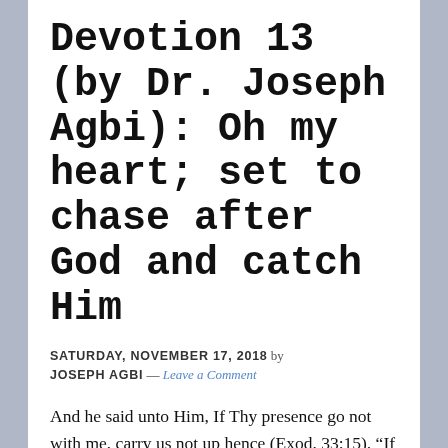Devotion 13 (by Dr. Joseph Agbi): Oh my heart; set to chase after God and catch Him
SATURDAY, NOVEMBER 17, 2018 by JOSEPH AGBI — Leave a Comment
And he said unto Him, If Thy presence go not with me, carry us not up hence (Exod. 33:15). “If You’re not going, I’m not going!” Rings true, doesn’t it? “Where you go, I will go.” Sound familiar? It’s the mantra of men and women on a mission: the pursuit of His